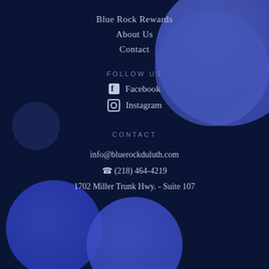Blue Rock Rewards
About Us
Contact
FOLLOW US
Facebook
Instagram
CONTACT
info@bluerockduluth.com
(218) 464-4219
1702 Miller Trunk Hwy. - Suite 107